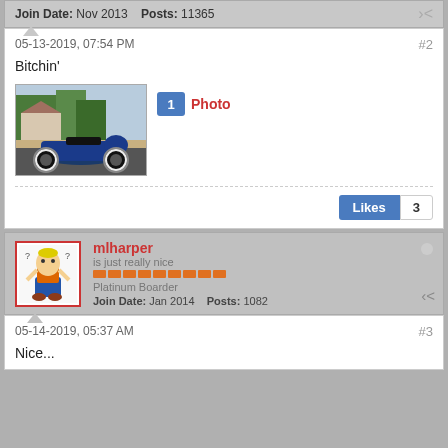Join Date: Nov 2013   Posts: 11365
05-13-2019, 07:54 PM   #2
Bitchin'
[Figure (photo): Thumbnail of a blue motorcycle parked outdoors with houses and trees in background. Badge showing '1 Photo' next to it.]
Likes  3
mlharper
is just really nice
Platinum Boarder
Join Date: Jan 2014   Posts: 1082
05-14-2019, 05:37 AM   #3
Nice...